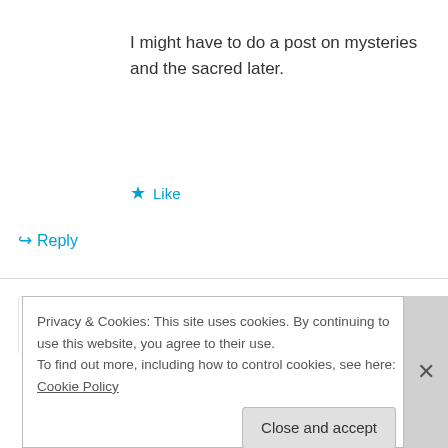I might have to do a post on mysteries and the sacred later.
★ Like
↪ Reply
Doug on May 20, 2012 at 12:40 pm
👍 0 👎 0 ℹ Rate This
Hey Cal and Jetboy: I just went on Amazon
Privacy & Cookies: This site uses cookies. By continuing to use this website, you agree to their use.
To find out more, including how to control cookies, see here: Cookie Policy
Close and accept